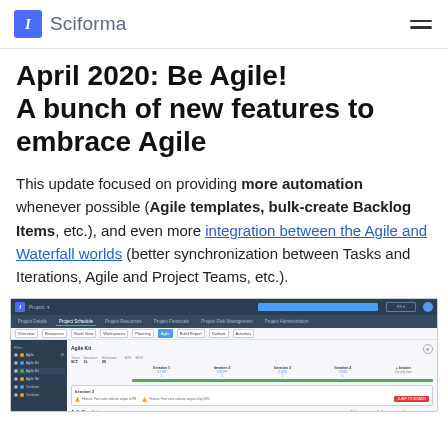Sciforma
April 2020: Be Agile! A bunch of new features to embrace Agile
This update focused on providing more automation whenever possible (Agile templates, bulk-create Backlog Items, etc.), and even more integration between the Agile and Waterfall worlds (better synchronization between Tasks and Iterations, Agile and Project Teams, etc.).
[Figure (screenshot): Screenshot of Sciforma project management application showing the Agile Kit view with iteration scheduling, task grid, and iteration detail panels.]